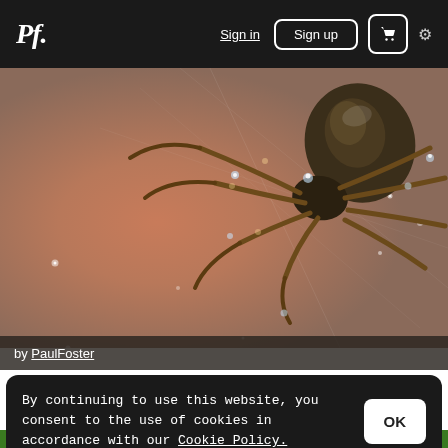Pf. | Sign in | Sign up | [cart] | [settings]
[Figure (photo): Close-up macro photograph of a spider with dew drops on its web, warm pinkish-brown blurred background]
by PaulFoster
By continuing to use this website, you consent to the use of cookies in accordance with our Cookie Policy.
OK